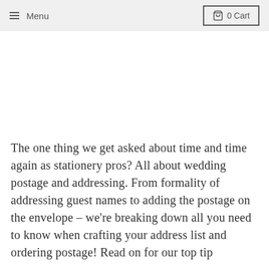Menu  0 Cart
The one thing we get asked about time and time again as stationery pros? All about wedding postage and addressing. From formality of addressing guest names to adding the postage on the envelope – we're breaking down all you need to know when crafting your address list and ordering postage! Read on for our top tip